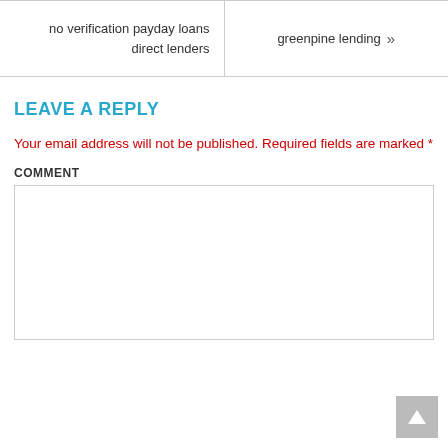no verification payday loans direct lenders
greenpine lending »
LEAVE A REPLY
Your email address will not be published. Required fields are marked *
COMMENT